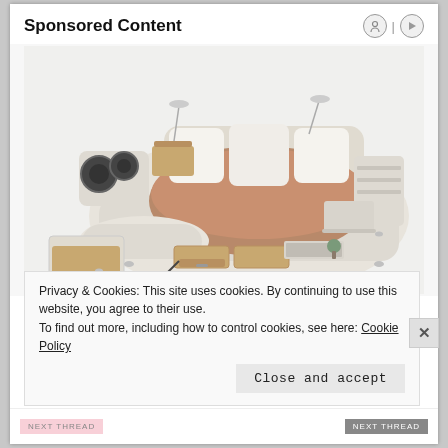Sponsored Content
[Figure (photo): A large multi-functional bed with white upholstery featuring built-in speakers, reading lamps, storage drawers, a massage chaise lounge, laptop stand, and shelving units all integrated into the bed frame design.]
Privacy & Cookies: This site uses cookies. By continuing to use this website, you agree to their use.
To find out more, including how to control cookies, see here: Cookie Policy
Close and accept